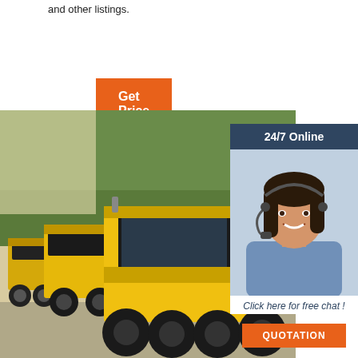and other listings.
Get Price
[Figure (photo): Row of yellow road roller / compactor machines parked outdoors with green trees in background]
24/7 Online
[Figure (photo): Customer service representative woman with headset smiling]
Click here for free chat !
QUOTATION